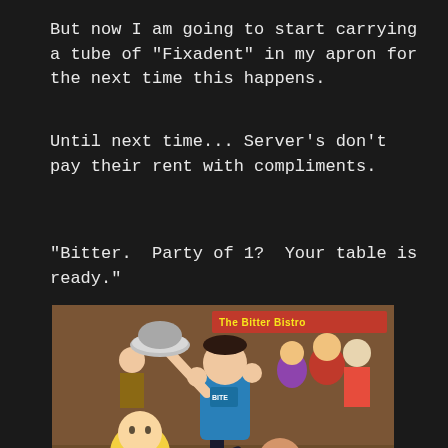But now I am going to start carrying a tube of "Fixadent" in my apron for the next time this happens.
Until next time... Server's don't pay their rent with compliments.
"Bitter.  Party of 1?  Your table is ready."
[Figure (illustration): Cartoon illustration showing a waiter in black outfit holding a serving platter above his head, surrounded by restaurant patrons at tables. A banner reads 'The Bitter Bistro'.]